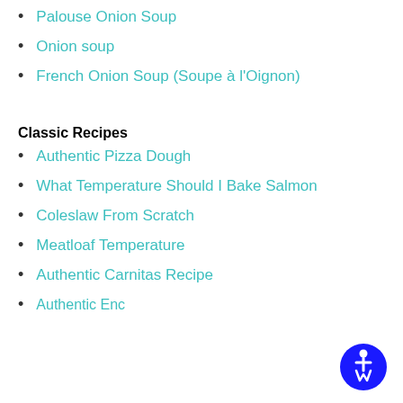Palouse Onion Soup
Onion soup
French Onion Soup (Soupe à l'Oignon)
Classic Recipes
Authentic Pizza Dough
What Temperature Should I Bake Salmon
Coleslaw From Scratch
Meatloaf Temperature
Authentic Carnitas Recipe
Authentic Enchilada Recipe